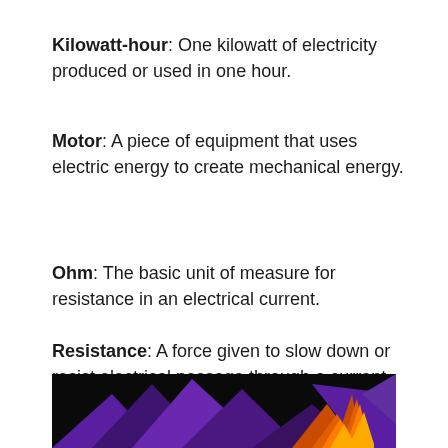Kilowatt-hour: One kilowatt of electricity produced or used in one hour.
Motor: A piece of equipment that uses electric energy to create mechanical energy.
Ohm: The basic unit of measure for resistance in an electrical current.
Resistance: A force given to slow down or resist electrical passage through a current.
[Figure (photo): Colorful abstract image with purple, orange, and black geometric shapes on a dark background, partially visible at the bottom of the page.]